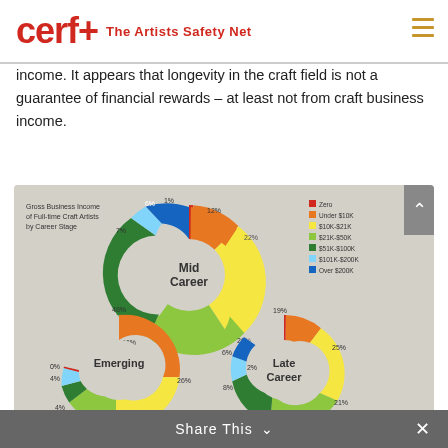cerf+ The Artists Safety Net
income. It appears that longevity in the craft field is not a guarantee of financial rewards – at least not from craft business income.
[Figure (donut-chart): Three donut charts showing Gross Business Income of Full-time Craft Artists by Career Stage: Mid Career, Emerging, and Late Career. Legend: Zero (red), Under $10K (orange), $10K-$21K (yellow), $21K-$50K (light green), $51K-$100K (dark green), $101K-$200K (light blue), Over $200K (dark blue). Mid Career: Zero 1%, Under $10K 12%, $10K-$21K 22%, $21K-$50K 26%, $51K-$100K 26%, $101K-$200K 7%, Over $200K 6%. Emerging: Zero 0%, Under $10K 48%, $10K-$21K 26%, $21K-$50K 16%, $51K-$100K 4%, $101K-$200K 4%, Over $200K 0%. Late Career: Zero 2%, Under $10K 19%, $10K-$21K 25%, $21K-$50K 21%, $51K-$100K 14%, $101K-$200K 8%, Over $200K 6%.]
Share This